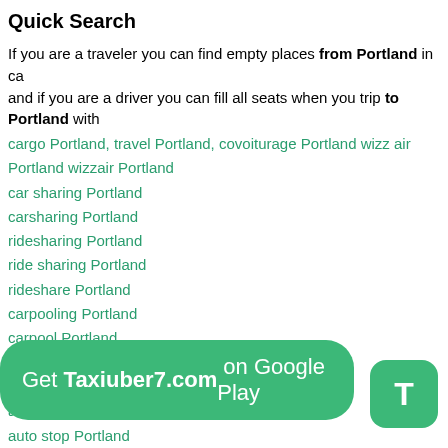Quick Search
If you are a traveler you can find empty places from Portland in ca and if you are a driver you can fill all seats when you trip to Portland with
cargo Portland, travel Portland, covoiturage Portland wizz air Portland wizzair Portland
car sharing Portland
carsharing Portland
ridesharing Portland
ride sharing Portland
rideshare Portland
carpooling Portland
carpool Portland
car pool Portland
vanpooling Portland
autostop Portland
auto stop Portland
avtostop Portland
avto stop Portland
taxi Portland 2022 Indriver Portland 2022 poparide Port
taksi Portland
uber Portland
blablacar Portland
mitfahrgelegenheit Portland
Get Taxiuber7.com on Google Play